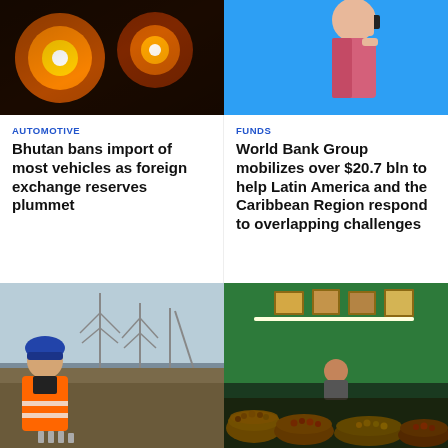[Figure (photo): Close-up of colorful car headlights/automotive lights]
[Figure (photo): Woman talking on phone against blue background]
AUTOMOTIVE
Bhutan bans import of most vehicles as foreign exchange reserves plummet
FUNDS
World Bank Group mobilizes over $20.7 bln to help Latin America and the Caribbean Region respond to overlapping challenges
[Figure (photo): Engineer in orange safety jacket at electrical substation construction site]
[Figure (photo): Indian market stall with nuts and fruits, green walls, vendor seated inside]